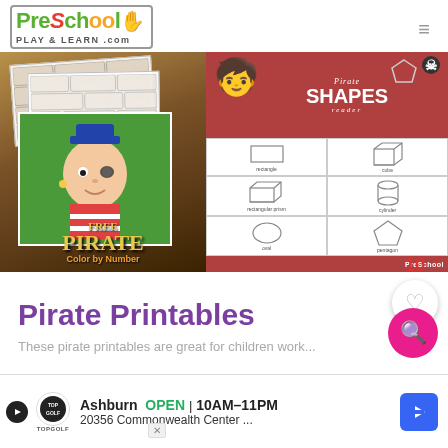PreSchool Play & Learn .com
[Figure (illustration): Two educational preschool images side by side: left shows a free pirate color by number worksheet with pirate character and stone wall coloring pages; right shows a pirate shapes reader booklet with a pirate character and shape worksheets grid showing rectangle, cube, rectangular prism, cylinder, oval, pentagon, parallelogram, pyramid]
Pirate Printables
These pirate printables are great for children working...
[Figure (screenshot): Advertisement banner: Ashburn OPEN 10AM-11PM, 20356 Commonwealth Center ..., TopGolf logo, play button, navigation arrow icon, close X button]